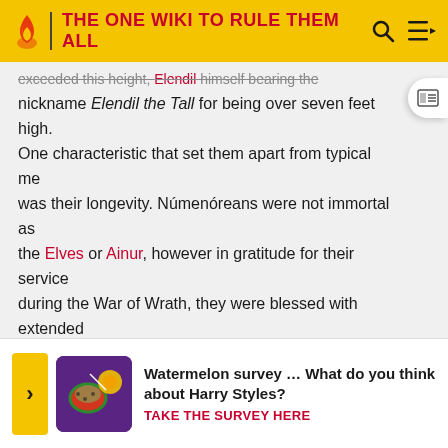THE ONE WIKI TO RULE THEM ALL
exceeded this height, Elendil himself bearing the nickname Elendil the Tall for being over seven feet high. One characteristic that set them apart from typical men was their longevity. Númenóreans were not immortal as the Elves or Ainur, however in gratitude for their service during the War of Wrath, they were blessed with extended lifespans averaging three times those of other men. Those descended from the House of Elros could live for around 400-500 years. They also aged more slowly than other Men and when they felt their period of vigour ending, were able to lie down and surrender their lives peace...
[Figure (other): Watermelon survey advertisement banner with purple/pink image and call to action 'Watermelon survey … What do you think about Harry Styles? TAKE THE SURVEY HERE']